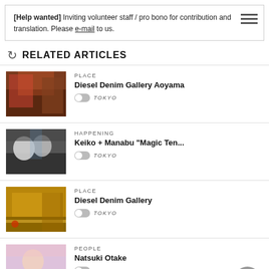[Help wanted] Inviting volunteer staff / pro bono for contribution and translation. Please e-mail to us.
RELATED ARTICLES
[Figure (photo): Interior of Diesel Denim Gallery Aoyama – large colorful installation on wall]
PLACE – Diesel Denim Gallery Aoyama – TOKYO
[Figure (photo): Interior with spherical sculptures and reflective floor]
HAPPENING – Keiko + Manabu "Magic Ten..." – TOKYO
[Figure (photo): Interior of Diesel Denim Gallery store with yellow lighting and clothing racks]
PLACE – Diesel Denim Gallery – TOKYO
[Figure (photo): Portrait of Natsuki Otake in front of colorful background]
PEOPLE – Natsuki Otake – TOKYO